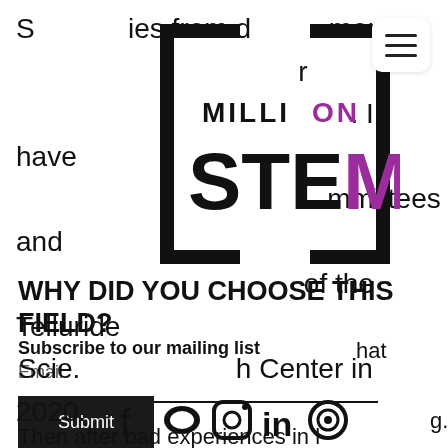S...ies from d...ment ...r... I have ...mmittees and ...of the Telluride Scie...h Center in 2020.
[Figure (logo): Million STEM logo with bracket marks, 'MILLION' in bold with purple 'ON', 'STEM' large bold with purple 'M']
WHY DID YOU CHOOSE THIS FIELD?
Subscribe to our mailing list
hat
Email
Submit
g.
Then after bad experiences in l
[Figure (infographic): Social media icons row: Facebook, Twitter, Instagram, LinkedIn, Target/Qobuz icon, with partial text 'switched to hysi...a...have']
been coming back ever since. l